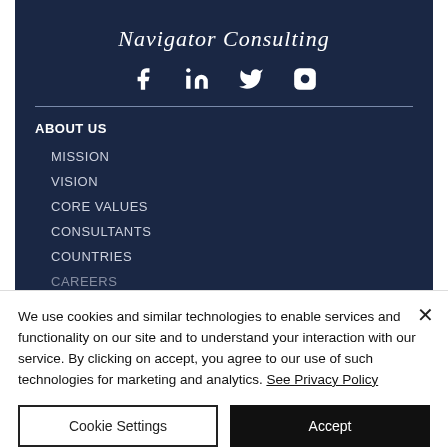Navigator Consulting
[Figure (infographic): Social media icons: Facebook (f), LinkedIn (in), Twitter bird, Instagram camera]
ABOUT US
MISSION
VISION
CORE VALUES
CONSULTANTS
COUNTRIES
CAREERS
We use cookies and similar technologies to enable services and functionality on our site and to understand your interaction with our service. By clicking on accept, you agree to our use of such technologies for marketing and analytics. See Privacy Policy